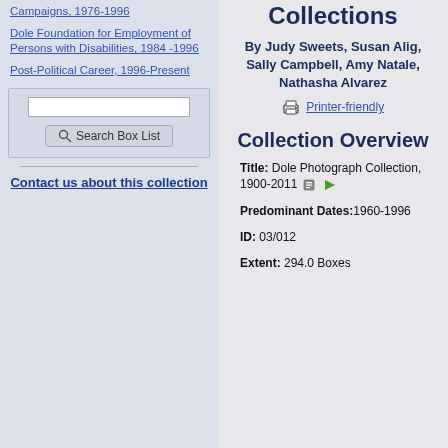Campaigns, 1976-1996
Dole Foundation for Employment of Persons with Disabilities, 1984 -1996
Post-Political Career, 1996-Present
Search Box List (search input)
Contact us about this collection
Collections
By Judy Sweets, Susan Alig, Sally Campbell, Amy Natale, Nathasha Alvarez
Printer-friendly
Collection Overview
Title: Dole Photograph Collection, 1900-2011
Predominant Dates:1960-1996
ID: 03/012
Extent: 294.0 Boxes